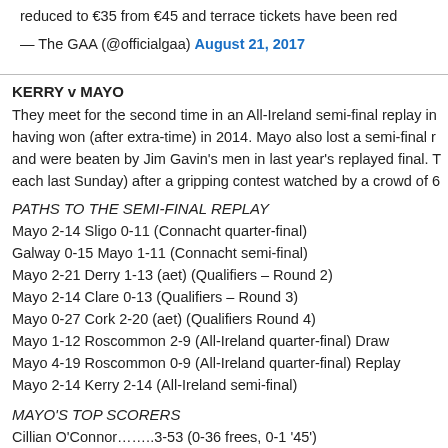reduced to €35 from €45 and terrace tickets have been red
— The GAA (@officialgaa) August 21, 2017
KERRY v MAYO
They meet for the second time in an All-Ireland semi-final replay in having won (after extra-time) in 2014. Mayo also lost a semi-final r and were beaten by Jim Gavin's men in last year's replayed final. each last Sunday) after a gripping contest watched by a crowd of
PATHS TO THE SEMI-FINAL REPLAY
Mayo 2-14 Sligo 0-11 (Connacht quarter-final)
Galway 0-15 Mayo 1-11 (Connacht semi-final)
Mayo 2-21 Derry 1-13 (aet) (Qualifiers – Round 2)
Mayo 2-14 Clare 0-13 (Qualifiers – Round 3)
Mayo 0-27 Cork 2-20 (aet) (Qualifiers Round 4)
Mayo 1-12 Roscommon 2-9 (All-Ireland quarter-final) Draw
Mayo 4-19 Roscommon 0-9 (All-Ireland quarter-final) Replay
Mayo 2-14 Kerry 2-14 (All-Ireland semi-final)
MAYO'S TOP SCORERS
Cillian O'Connor……..3-53 (0-36 frees, 0-1 '45')